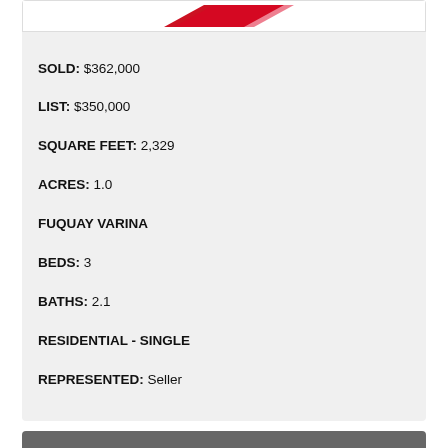[Figure (other): Red diagonal slash graphic / logo image placeholder]
SOLD: $362,000
LIST: $350,000
SQUARE FEET: 2,329
ACRES: 1.0
FUQUAY VARINA
BEDS: 3
BATHS: 2.1
RESIDENTIAL - SINGLE
REPRESENTED: Seller
120 Magnolia Meadow Way, Holly Springs, NC, 27540
[Figure (other): Red diagonal slash graphic / logo image placeholder]
SOLD: $401,000
HOLLY SPRINGS